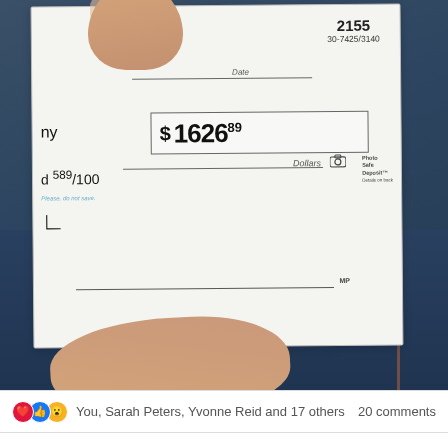[Figure (photo): A person holding a personal check showing check number 2155, routing number 30-7425/3140, amount $1626.89, written amount 'and 89/100 Dollars', with Photo Safe Deposit branding. The check is held against a denim background.]
You, Sarah Peters, Yvonne Reid and 17 others   20 comments